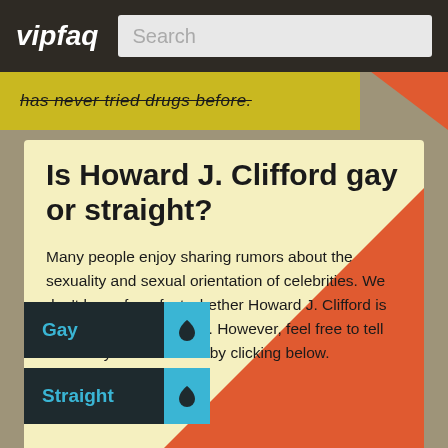vipfaq
has never tried drugs before.
Is Howard J. Clifford gay or straight?
Many people enjoy sharing rumors about the sexuality and sexual orientation of celebrities. We don't know for a fact whether Howard J. Clifford is gay, bisexual or straight. However, feel free to tell us what you think! Vote by clicking below.
Gay
Straight